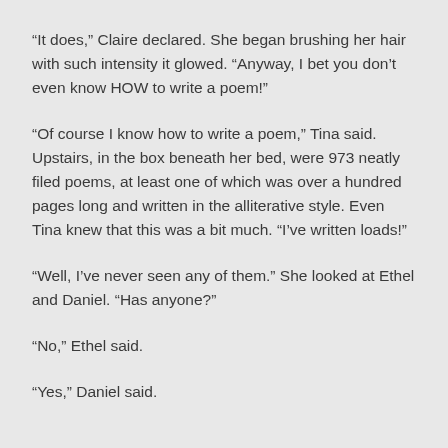“It does,” Claire declared. She began brushing her hair with such intensity it glowed. “Anyway, I bet you don’t even know HOW to write a poem!”
“Of course I know how to write a poem,” Tina said. Upstairs, in the box beneath her bed, were 973 neatly filed poems, at least one of which was over a hundred pages long and written in the alliterative style. Even Tina knew that this was a bit much. “I’ve written loads!”
“Well, I’ve never seen any of them.” She looked at Ethel and Daniel. “Has anyone?”
“No,” Ethel said.
“Yes,” Daniel said.